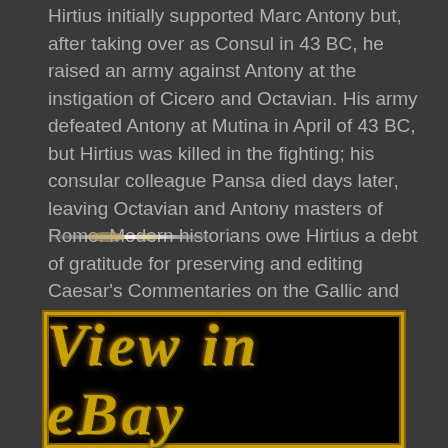Hirtius initially supported Marc Antony but, after taking over as Consul in 43 BC, he raised an army against Antony at the instigation of Cicero and Octavian. His army defeated Antony at Mutina in April of 43 BC, but Hirtius was killed in the fighting; his consular colleague Pansa died days later, leaving Octavian and Antony masters of Rome. Modern historians owe Hirtius a debt of gratitude for preserving and editing Caesar's Commentaries on the Gallic and Civil Wars.
[Figure (other): Small decorative horizontal divider line element, gold/bronze colored, partially obscured]
[Figure (other): eBay banner button with gold ornate text 'VIEW IN eBAY' on black background with gold border]